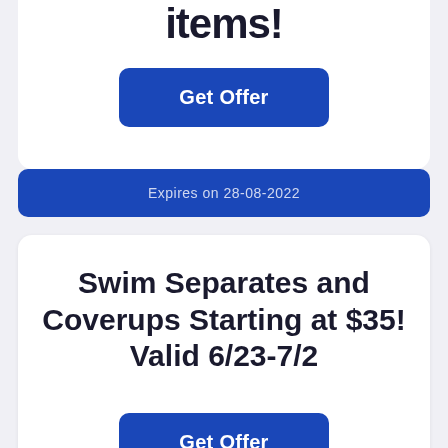items!
Get Offer
Expires on 28-08-2022
Swim Separates and Coverups Starting at $35! Valid 6/23-7/2
Get Offer